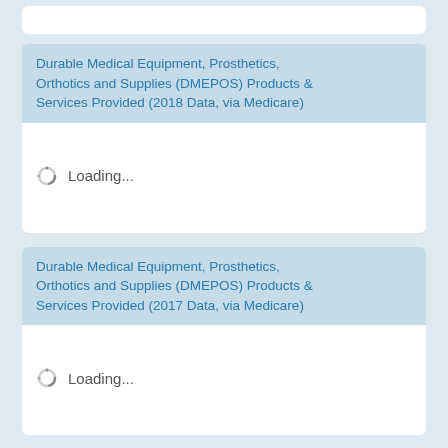[Figure (screenshot): Partial white card visible at top of page (truncated)]
Durable Medical Equipment, Prosthetics, Orthotics and Supplies (DMEPOS) Products & Services Provided (2018 Data, via Medicare)
[Figure (screenshot): Loading spinner with 'Loading...' text inside white card body]
Durable Medical Equipment, Prosthetics, Orthotics and Supplies (DMEPOS) Products & Services Provided (2017 Data, via Medicare)
[Figure (screenshot): Loading spinner with 'Loading...' text inside white card body]
[Figure (screenshot): Partial blue card header visible at bottom of page (truncated)]